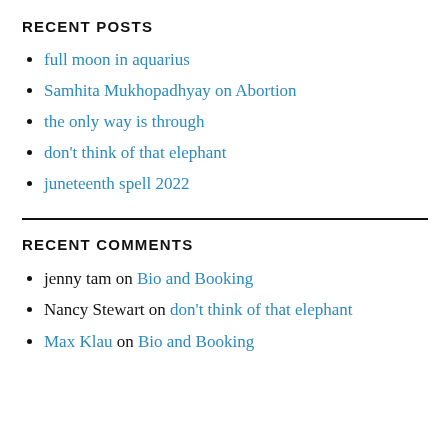RECENT POSTS
full moon in aquarius
Samhita Mukhopadhyay on Abortion
the only way is through
don't think of that elephant
juneteenth spell 2022
RECENT COMMENTS
jenny tam on Bio and Booking
Nancy Stewart on don't think of that elephant
Max Klau on Bio and Booking